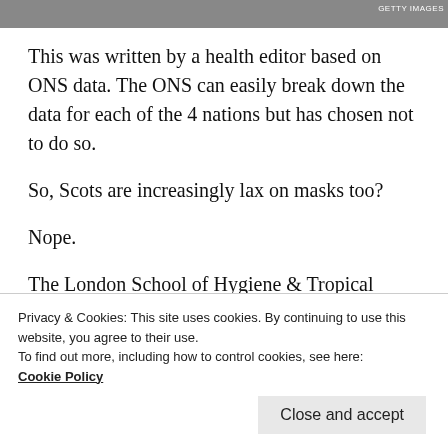[Figure (photo): Partial image strip at top of page with GETTY IMAGES watermark]
This was written by a health editor based on ONS data. The ONS can easily break down the data for each of the 4 nations but has chosen not to do so.
So, Scots are increasingly lax on masks too?
Nope.
The London School of Hygiene & Tropical Medicine has been monitoring behaviour changes in terms of f...
Privacy & Cookies: This site uses cookies. By continuing to use this website, you agree to their use.
To find out more, including how to control cookies, see here:
Cookie Policy
Close and accept